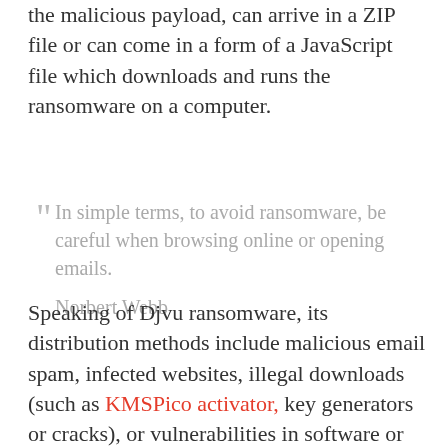the malicious payload, can arrive in a ZIP file or can come in a form of a JavaScript file which downloads and runs the ransomware on a computer.
“ In simple terms, to avoid ransomware, be careful when browsing online or opening emails.

Norbert Webb
Speaking of Djvu ransomware, its distribution methods include malicious email spam, infected websites, illegal downloads (such as KMSPico activator, key generators or cracks), or vulnerabilities in software or operating system installed on a computer.